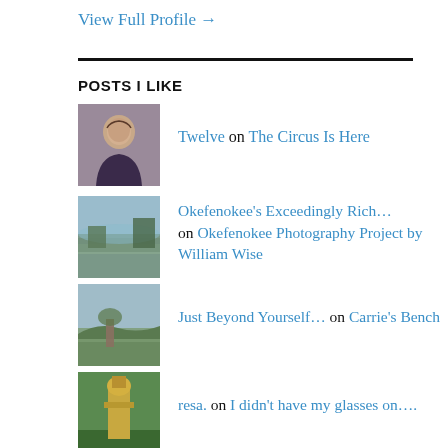View Full Profile →
POSTS I LIKE
Twelve on The Circus Is Here
Okefenokee's Exceedingly Rich… on Okefenokee Photography Project by William Wise
Just Beyond Yourself… on Carrie's Bench
resa. on I didn't have my glasses on….